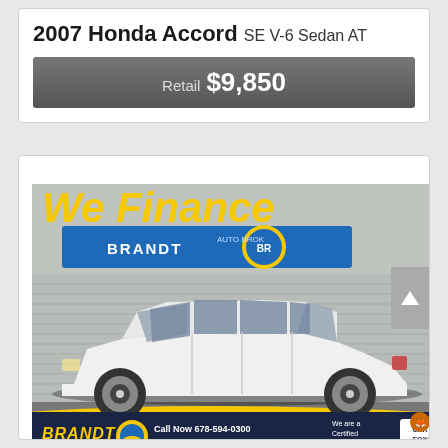2007 Honda Accord SE V-6 Sedan AT
Retail $9,850
[Figure (photo): Dealer advertisement photo showing a white 2007 Honda Accord sedan at Brandt Auto Brokers dealership. The ad shows 'We Finance' text at the top, the dealer logo and branding at the bottom with phone number 678-594-0300 and website www.brandtautobrokers.com, along with a Carfax Certified Dealer badge and a cartoon fox mascot.]